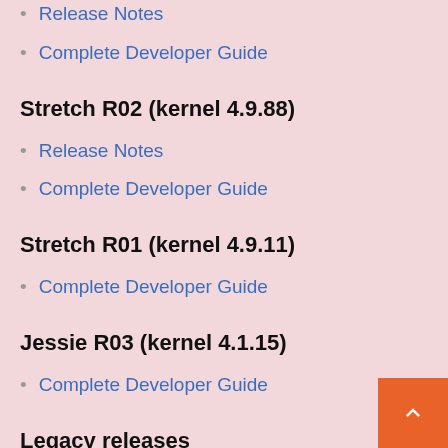Release Notes
Complete Developer Guide
Stretch R02 (kernel 4.9.88)
Release Notes
Complete Developer Guide
Stretch R01 (kernel 4.9.11)
Complete Developer Guide
Jessie R03 (kernel 4.1.15)
Complete Developer Guide
Legacy releases
Debian Legacy